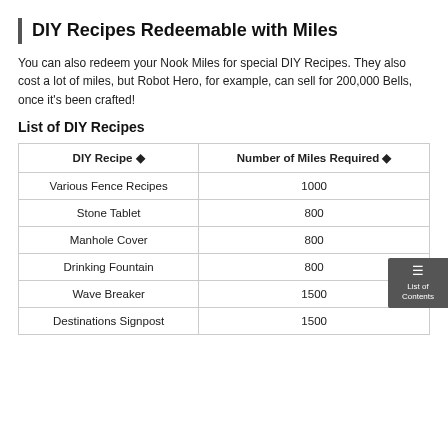DIY Recipes Redeemable with Miles
You can also redeem your Nook Miles for special DIY Recipes. They also cost a lot of miles, but Robot Hero, for example, can sell for 200,000 Bells, once it's been crafted!
List of DIY Recipes
| DIY Recipe ⬦ | Number of Miles Required ⬦ |
| --- | --- |
| Various Fence Recipes | 1000 |
| Stone Tablet | 800 |
| Manhole Cover | 800 |
| Drinking Fountain | 800 |
| Wave Breaker | 1500 |
| Destinations Signpost | 1500 |